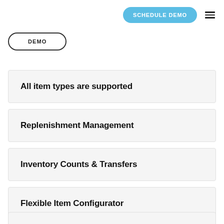SCHEDULE DEMO
DEMO
All item types are supported
Replenishment Management
Inventory Counts & Transfers
Flexible Item Configurator
...